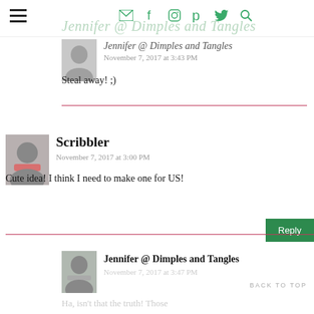Jennifer @ Dimples and Tangles — [hamburger menu, social icons: email, facebook, instagram, pinterest, twitter, search]
Jennifer @ Dimples and Tangles
November 7, 2017 at 3:43 PM
Steal away! ;)
Scribbler
November 7, 2017 at 3:00 PM
Cute idea! I think I need to make one for US!
Reply
Jennifer @ Dimples and Tangles
November 7, 2017 at 3:47 PM
Ha, isn't that the truth! Those
BACK TO TOP